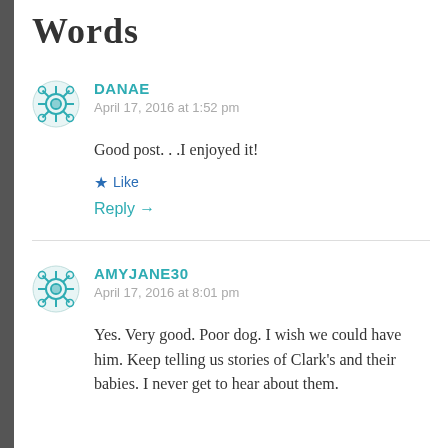Words
DANAE
April 17, 2016 at 1:52 pm

Good post. . .I enjoyed it!

★ Like

Reply →
AMYJANE30
April 17, 2016 at 8:01 pm

Yes. Very good. Poor dog. I wish we could have him. Keep telling us stories of Clark's and their babies. I never get to hear about them.